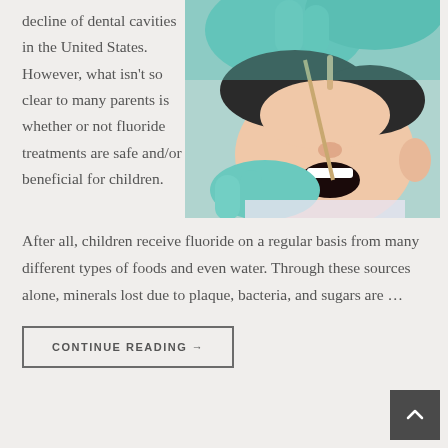decline of dental cavities in the United States. However, what isn't so clear to many parents is whether or not fluoride treatments are safe and/or beneficial for children.
[Figure (photo): A dentist wearing teal gloves performing a dental examination on a child patient lying in a dental chair, with the child's mouth open.]
After all, children receive fluoride on a regular basis from many different types of foods and even water. Through these sources alone, minerals lost due to plaque, bacteria, and sugars are …